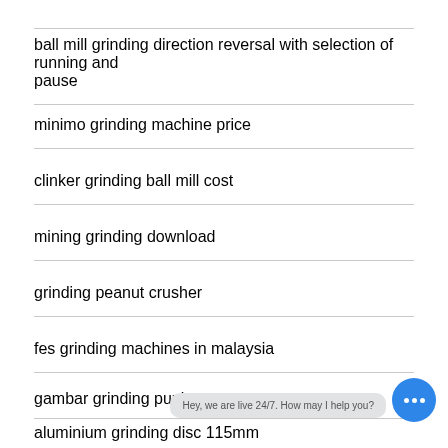ball mill grinding direction reversal with selection of running and pause
minimo grinding machine price
clinker grinding ball mill cost
mining grinding download
grinding peanut crusher
fes grinding machines in malaysia
gambar grinding punk
aluminium grinding disc 115mm